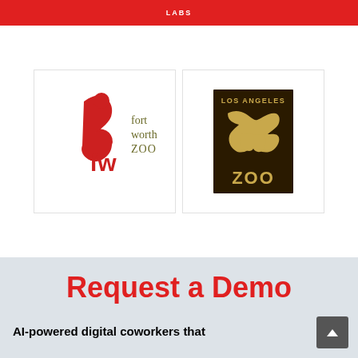LABS
[Figure (logo): Fort Worth Zoo logo — red bird/flamingo icon with 'fw' letters and text 'fort worth zoo' in olive/dark yellow]
[Figure (logo): Los Angeles Zoo logo — gold/yellow animal silhouette on dark brown rectangular background with 'LOS ANGELES' text at top and 'ZOO' at bottom]
Request a Demo
AI-powered digital coworkers that